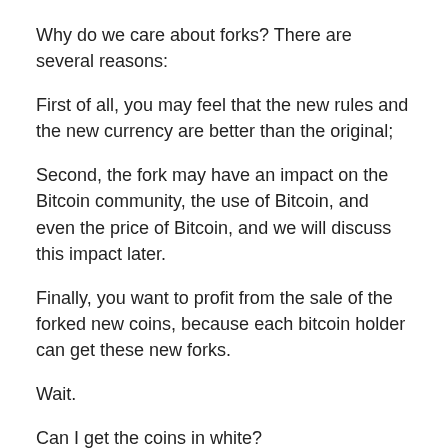Why do we care about forks? There are several reasons:
First of all, you may feel that the new rules and the new currency are better than the original;
Second, the fork may have an impact on the Bitcoin community, the use of Bitcoin, and even the price of Bitcoin, and we will discuss this impact later.
Finally, you want to profit from the sale of the forked new coins, because each bitcoin holder can get these new forks.
Wait.
Can I get the coins in white?
Yes, you didn’t get it wrong.
Go back to the game just said. Imagine that your game